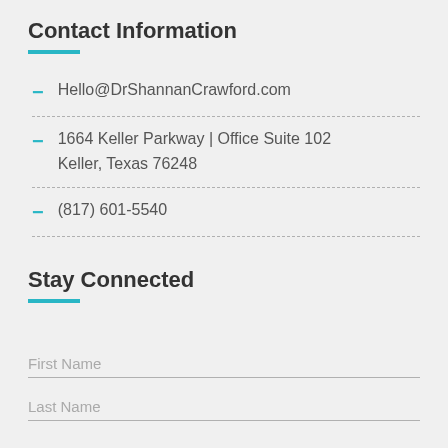Contact Information
Hello@DrShannanCrawford.com
1664 Keller Parkway | Office Suite 102
Keller, Texas 76248
(817) 601-5540
Stay Connected
First Name
Last Name